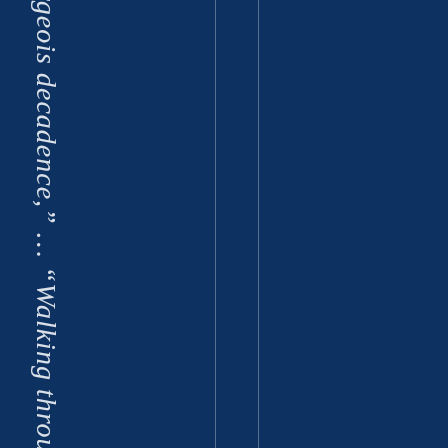[Figure (other): Dark navy blue book spine or cover page with two faint vertical white lines dividing the page into sections. Vertical italic text reads: 'rgeois decadence," ... " Walking throu' — partial text of a book title/subtitle running along the spine. Text is in white italic serif font on the dark blue background.]